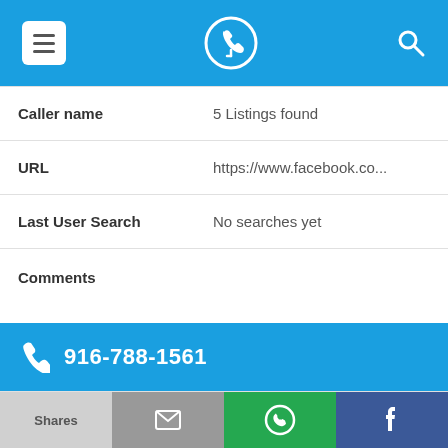[Figure (screenshot): Blue navigation bar with hamburger menu icon on left, phone/location logo in center, search icon on right]
| Caller name | 5 Listings found |
| URL | https://www.facebook.co... |
| Last User Search | No searches yet |
| Comments |  |
[Figure (screenshot): Blue bar showing phone number 916-788-1561 with phone icon]
| Alternate Form | 9167881561 |
| Caller name | Health Line Clinical Lab |
[Figure (screenshot): Bottom action bar with Shares, email, WhatsApp, and Facebook buttons]